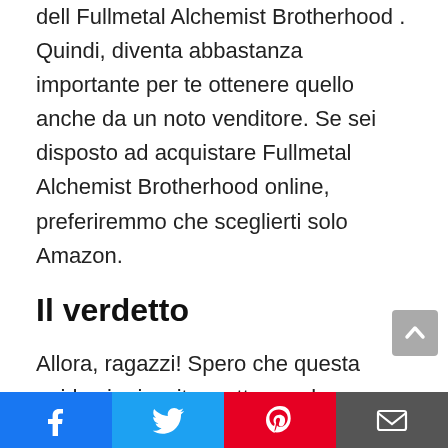dell Fullmetal Alchemist Brotherhood . Quindi, diventa abbastanza importante per te ottenere quello anche da un noto venditore. Se sei disposto ad acquistare Fullmetal Alchemist Brotherhood online, preferiremmo che sceglierti solo Amazon.
Il verdetto
Allora, ragazzi! Spero che questa guida sia riuscita a ottenere la soluzione perfetta per tutte le tue domande. Abbiamo arruolato qui le diverse e migliori Fullmetal Alchemist Brotherhood disponibili sul mercato per il 2022. Tutti i prodotti arruolati qui sono i migliori in termini di qualità e convenienza.
Facebook | Twitter | Pinterest | Email